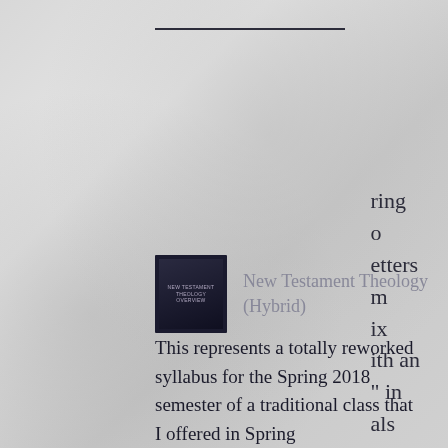[Figure (other): Horizontal decorative rule line near top of page]
ring
o
etters
m
ix
ith an
" in
als
i.
[Figure (photo): Small book cover image for New Testament Theology textbook, dark colored cover with text]
New Testament Theology (Hybrid)
This represents a totally reworked syllabus for the Spring 2018 semester of a traditional class that I offered in Spring